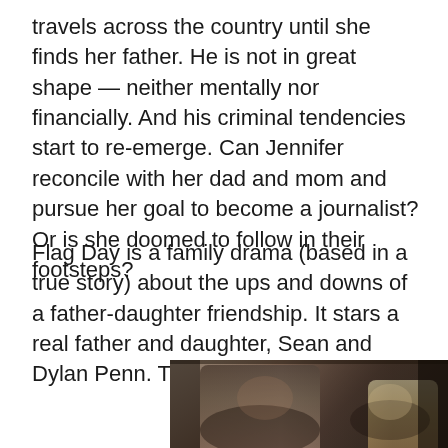travels across the country until she finds her father. He is not in great shape — neither mentally nor financially. And his criminal tendencies start to re-emerge. Can Jennifer reconcile with her dad and mom and pursue her goal to become a journalist? Or is she doomed to follow in their footsteps?
Flag Day is a family drama (based in a true story) about the ups and downs of a father-daughter friendship. It stars a real father and daughter, Sean and Dylan Penn. The movie starts on Flag
[Figure (photo): A movie still from Flag Day showing two people inside a car — a middle-aged man in the foreground looking towards the camera, and a young blonde woman visible in the background.]